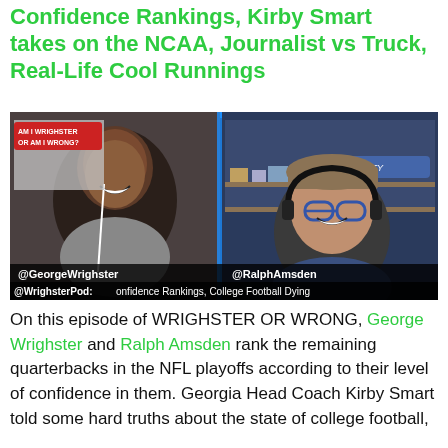Confidence Rankings, Kirby Smart takes on the NCAA, Journalist vs Truck, Real-Life Cool Runnings
[Figure (screenshot): Video podcast screenshot showing two hosts: @GeorgeWrighster on the left and @RalphAmsden on the right, with overlays: 'AM I WRIGHSTER OR AM I WRONG?' red badge, @WrighsterPod text at bottom left and 'Confidence Rankings, College Football Dying,' text at bottom.]
On this episode of WRIGHSTER OR WRONG, George Wrighster and Ralph Amsden rank the remaining quarterbacks in the NFL playoffs according to their level of confidence in them. Georgia Head Coach Kirby Smart told some hard truths about the state of college football,